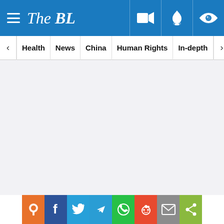The BL - navigation header with hamburger menu, logo, and icons (video, notification, eye)
Nav bar: Health | News | China | Human Rights | In-depth
[Figure (screenshot): White/light grey blank content area]
Social share bar: bookmark (orange), Facebook, Twitter, Telegram, WhatsApp, Reddit, Email, Share (green)